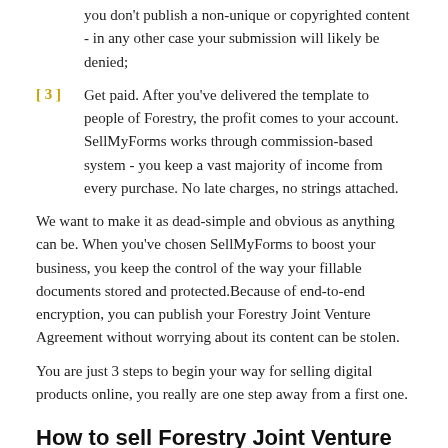you don't publish a non-unique or copyrighted content - in any other case your submission will likely be denied;
[ 3 ]  Get paid. After you've delivered the template to people of Forestry, the profit comes to your account. SellMyForms works through commission-based system - you keep a vast majority of income from every purchase. No late charges, no strings attached.
We want to make it as dead-simple and obvious as anything can be. When you've chosen SellMyForms to boost your business, you keep the control of the way your fillable documents stored and protected.Because of end-to-end encryption, you can publish your Forestry Joint Venture Agreement without worrying about its content can be stolen.
You are just 3 steps to begin your way for selling digital products online, you really are one step away from a first one.
How to sell Forestry Joint Venture Agreement?
SellMyForms is a place for getting passive profit. We've got an easy instruction to help you sell your digital documents.
To sell Forestry Joint Venture Agreement you need to: